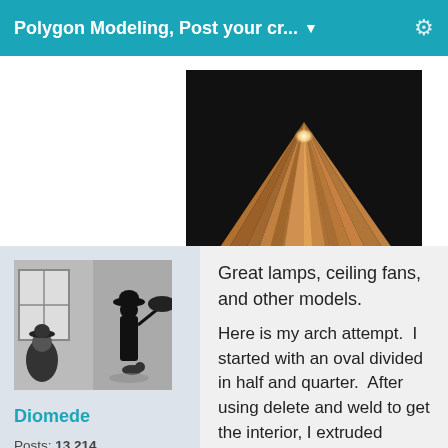Polygon Modeling, Post your cr... ▼
[Figure (photo): 3D rendered lamp with origami-style shade on a dark background, glowing light at top center, green base with cord]
[Figure (photo): Black and white user avatar image showing two figures in an urban scene]
Diomede
Posts: 13,214
March 2016
Great lamps, ceiling fans, and other models.
Here is my arch attempt.  I started with an oval divided in half and quarter.  After using delete and weld to get the interior, I extruded outward to get the frame.  I then scaled